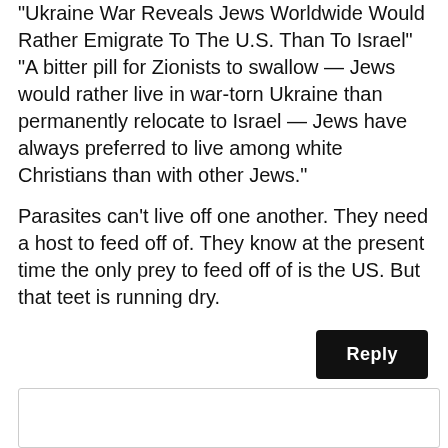"Ukraine War Reveals Jews Worldwide Would Rather Emigrate To The U.S. Than To Israel" "A bitter pill for Zionists to swallow — Jews would rather live in war-torn Ukraine than permanently relocate to Israel — Jews have always preferred to live among white Christians than with other Jews."
Parasites can't live off one another. They need a host to feed off of. They know at the present time the only prey to feed off of is the US. But that teet is running dry.
Reply
March 18, 2022 at 5:31 pm